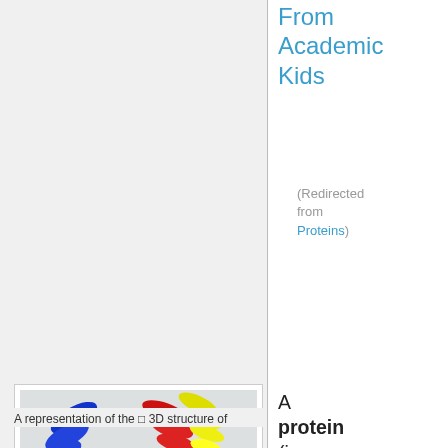From Academic Kids
(Redirected from Proteins)
[Figure (illustration): A rainbow-colored 3D protein structure ribbon diagram showing alpha helices and loops in blue, green, red, yellow, orange, and cyan on a light background.]
A representation of the 3D structure of
A protein (in Greek πρωτεΐνη = first element) is